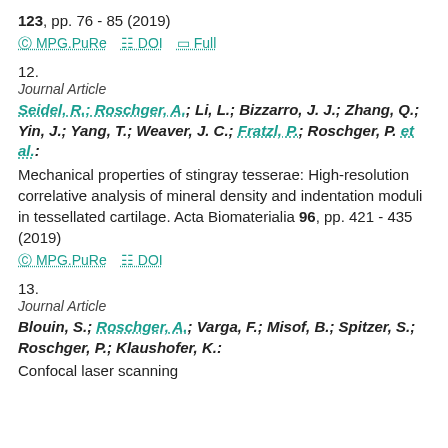123, pp. 76 - 85 (2019)
MPG.PuRe   DOI   Full
12.
Journal Article
Seidel, R.; Roschger, A.; Li, L.; Bizzarro, J. J.; Zhang, Q.; Yin, J.; Yang, T.; Weaver, J. C.; Fratzl, P.; Roschger, P. et al.: Mechanical properties of stingray tesserae: High-resolution correlative analysis of mineral density and indentation moduli in tessellated cartilage. Acta Biomaterialia 96, pp. 421 - 435 (2019)
MPG.PuRe   DOI
13.
Journal Article
Blouin, S.; Roschger, A.; Varga, F.; Misof, B.; Spitzer, S.; Roschger, P.; Klaushofer, K.: Confocal laser scanning